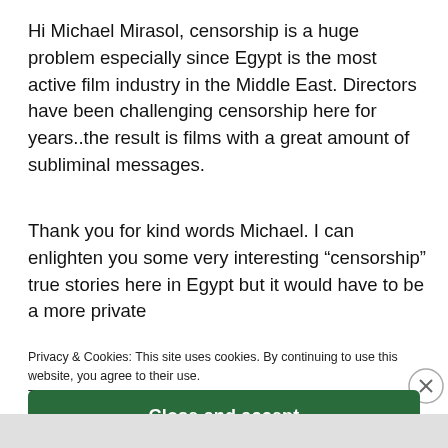Hi Michael Mirasol, censorship is a huge problem especially since Egypt is the most active film industry in the Middle East. Directors have been challenging censorship here for years..the result is films with a great amount of subliminal messages.
Thank you for kind words Michael. I can enlighten you some very interesting “censorship” true stories here in Egypt but it would have to be a more private
Privacy & Cookies: This site uses cookies. By continuing to use this website, you agree to their use.
To find out more, including how to control cookies, see here:
Cookie Policy
Close and accept